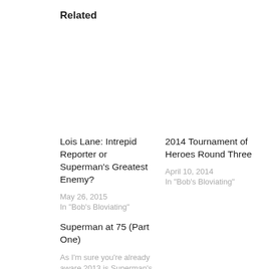Related
Lois Lane: Intrepid Reporter or Superman’s Greatest Enemy?
May 26, 2015
In “Bob’s Bloviating”
2014 Tournament of Heroes Round Three
April 10, 2014
In “Bob’s Bloviating”
Superman at 75 (Part One)
As I’m sure you’re already aware 2013 is Superman’s 75th year. It’s a pretty impressive milestone
November 20, 2013
In “Bob’s Bloviating”